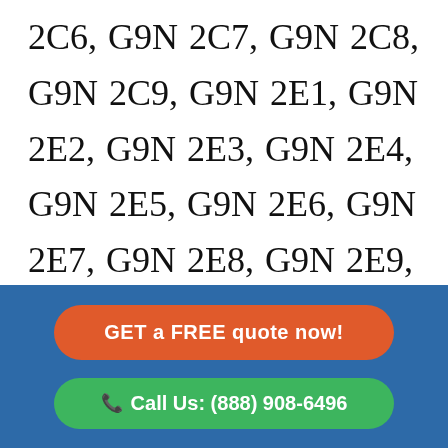2C6, G9N 2C7, G9N 2C8, G9N 2C9, G9N 2E1, G9N 2E2, G9N 2E3, G9N 2E4, G9N 2E5, G9N 2E6, G9N 2E7, G9N 2E8, G9N 2E9, G9N 2G1, G9N 2G2, G9N 2G3, G9N 2G4, G9N 2G5, G9N 2G6, G9N 2G7, G9N 2G8, G9N 2G9, G9N 2H1, G9N 2H2, G9N 2H3, G9N 2H4, G9N 2H5, G9N 2H6
GET a FREE quote now!
Call Us: (888) 908-6496